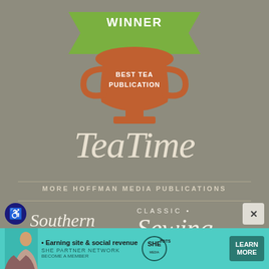[Figure (illustration): Award trophy graphic with green ribbon banner at top showing 'WINNER' text, and an orange/terracotta trophy cup with 'BEST TEA PUBLICATION' text on it]
[Figure (logo): TeaTime magazine logo in white cursive/script italic font on a taupe/khaki background]
MORE HOFFMAN MEDIA PUBLICATIONS
[Figure (logo): Southern home magazine logo in white italic serif font]
[Figure (logo): Classic Sewing magazine logo with 'CLASSIC •' in small caps and 'Sewing' in large white italic serif font]
[Figure (advertisement): SHE Partner Network advertisement banner at bottom on teal background: 'Earning site & social revenue' with SHE logo and 'LEARN MORE' button, showing a woman's photo]